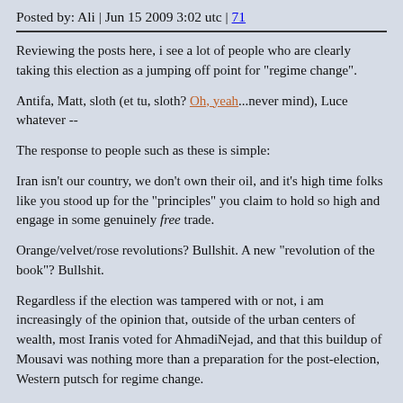Posted by: Ali | Jun 15 2009 3:02 utc | 71
Reviewing the posts here, i see a lot of people who are clearly taking this election as a jumping off point for "regime change".
Antifa, Matt, sloth (et tu, sloth? Oh, yeah...never mind), Luce whatever --
The response to people such as these is simple:
Iran isn't our country, we don't own their oil, and it's high time folks like you stood up for the "principles" you claim to hold so high and engage in some genuinely free trade.
Orange/velvet/rose revolutions? Bullshit. A new "revolution of the book"? Bullshit.
Regardless if the election was tampered with or not, i am increasingly of the opinion that, outside of the urban centers of wealth, most Iranis voted for AhmadiNejad, and that this buildup of Mousavi was nothing more than a preparation for the post-election, Western putsch for regime change.
What i see in the cards for Iran are protests in the city centers that are widely covered in the Corporate media, an eventual attempted coup which is put down with a lot of